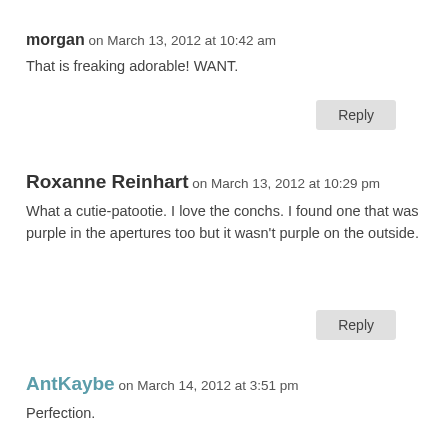morgan on March 13, 2012 at 10:42 am
That is freaking adorable! WANT.
Reply
Roxanne Reinhart on March 13, 2012 at 10:29 pm
What a cutie-patootie. I love the conchs. I found one that was purple in the apertures too but it wasn't purple on the outside.
Reply
AntKaybe on March 14, 2012 at 3:51 pm
Perfection.